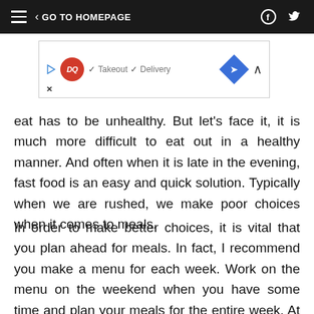≡  < GO TO HOMEPAGE  [facebook] [twitter]
[Figure (other): Dairy Queen advertisement banner with DQ logo, checkmarks for Takeout and Delivery, a blue diamond direction arrow icon, and a collapse caret. An X close button appears at bottom left.]
eat has to be unhealthy. But let's face it, it is much more difficult to eat out in a healthy manner. And often when it is late in the evening, fast food is an easy and quick solution. Typically when we are rushed, we make poor choices when it comes to meals.
In order to make better choices, it is vital that you plan ahead for meals. In fact, I recommend you make a menu for each week. Work on the menu on the weekend when you have some time and plan your meals for the entire week. At our